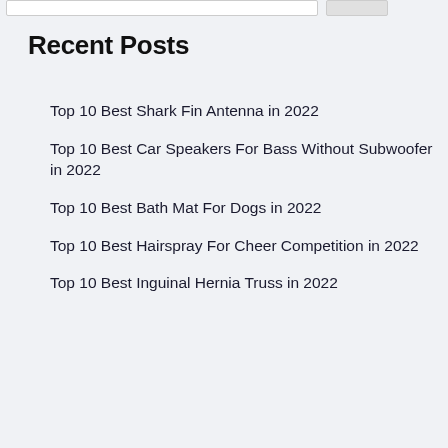Recent Posts
Top 10 Best Shark Fin Antenna in 2022
Top 10 Best Car Speakers For Bass Without Subwoofer in 2022
Top 10 Best Bath Mat For Dogs in 2022
Top 10 Best Hairspray For Cheer Competition in 2022
Top 10 Best Inguinal Hernia Truss in 2022